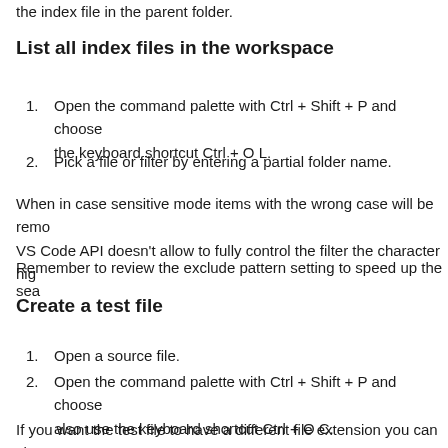The extension will jump to the index file of the current folder. If the current folder, the index file in the parent folder.
List all index files in the workspace
1. Open the command palette with Ctrl + Shift + P and choose the keyboard shortcut Ctrl + O L.
2. Pick a file or filter by entering a partial folder name.
When in case sensitive mode items with the wrong case will be removed. VS Code API doesn't allow to fully control the filter the character hig
Remember to review the exclude pattern setting to speed up the sea
Create a test file
1. Open a source file.
2. Open the command palette with Ctrl + Shift + P and choose also use the keyboard shortcut Ctrl + O C.
If you want the test file to have a different file extension you can cha setting.